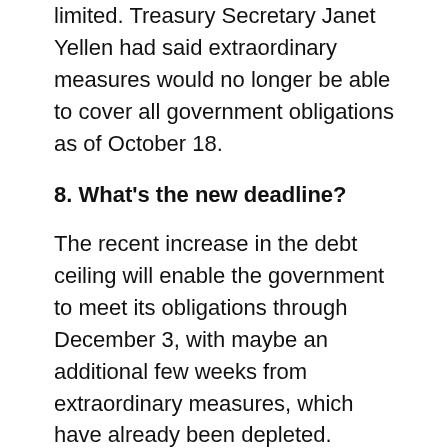limited. Treasury Secretary Janet Yellen had said extraordinary measures would no longer be able to cover all government obligations as of October 18.
8. What's the new deadline?
The recent increase in the debt ceiling will enable the government to meet its obligations through December 3, with maybe an additional few weeks from extraordinary measures, which have already been depleted.